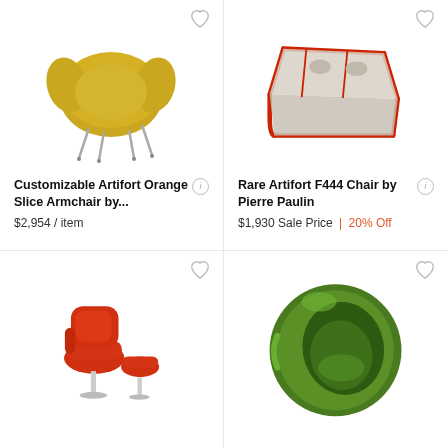[Figure (photo): Yellow/mustard Artifort Orange Slice Armchair on chrome legs]
Customizable Artifort Orange Slice Armchair by...
$2,954 / item
[Figure (photo): Grey and red Artifort F444 lounge chair by Pierre Paulin]
Rare Artifort F444 Chair by Pierre Paulin
$1,930 Sale Price | 20% Off
[Figure (photo): Red lounge chair with ottoman on chrome base]
[Figure (photo): Green pod/ball armchair]